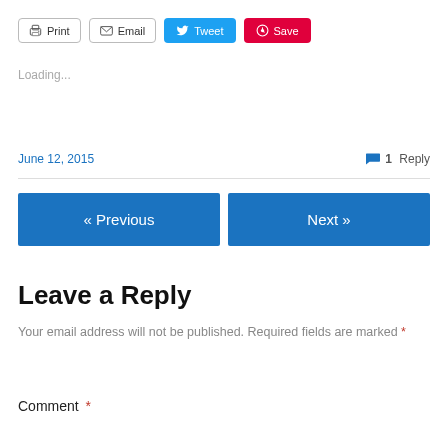Print | Email | Tweet | Save
Loading...
June 12, 2015  |  1 Reply
« Previous
Next »
Leave a Reply
Your email address will not be published. Required fields are marked *
Comment *